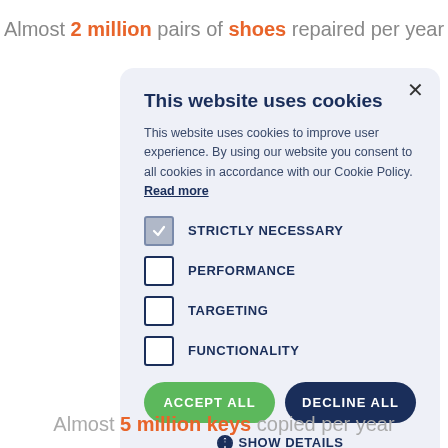Almost 2 million pairs of shoes repaired per year
[Figure (screenshot): Cookie consent modal dialog with title 'This website uses cookies', descriptive text, checkboxes for STRICTLY NECESSARY, PERFORMANCE, TARGETING, FUNCTIONALITY, ACCEPT ALL and DECLINE ALL buttons, and SHOW DETAILS link.]
Almost 5 million keys copied per year